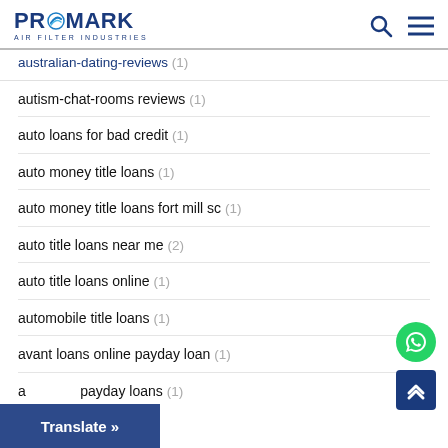PROMARK AIR FILTER INDUSTRIES
australian-dating-reviews (1)
autism-chat-rooms reviews (1)
auto loans for bad credit (1)
auto money title loans (1)
auto money title loans fort mill sc (1)
auto title loans near me (2)
auto title loans online (1)
automobile title loans (1)
avant loans online payday loan (1)
a... payday loans (1)